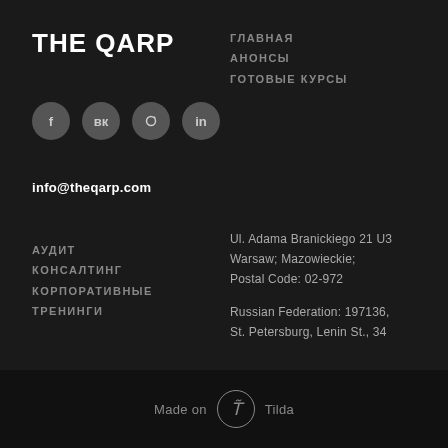THE QARP
ГЛАВНАЯ
АНОНСЫ
ГОТОВЫЕ КУРСЫ
[Figure (illustration): Four social media icon circles: Facebook (f), VK, Instagram, LinkedIn]
info@theqarp.com
АУДИТ
КОНСАЛТИНГ
КОРПОРАТИВНЫЕ ТРЕНИНГИ
Ul. Adama Branickiego 21 U3
Warsaw; Mazowieckie;
Postal Code: 02-972
Russian Federation: 197136,
St. Petersburg, Lenin St., 34
Made on Tilda